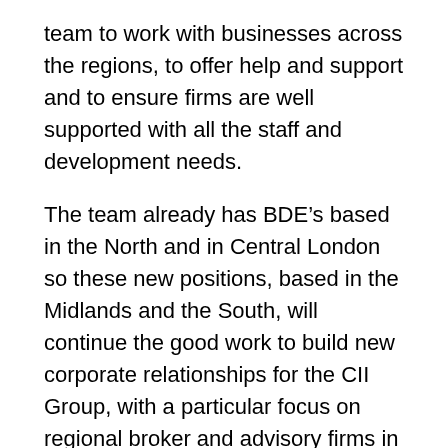team to work with businesses across the regions, to offer help and support and to ensure firms are well supported with all the staff and development needs.
The team already has BDE’s based in the North and in Central London so these new positions, based in the Midlands and the South, will continue the good work to build new corporate relationships for the CII Group, with a particular focus on regional broker and advisory firms in insurance and financial planning. The role will also develop existing relationships with firms already associated with the Group, promoting the range and value of CII Groups products and services to them.
The CII are looking for someone who can capitalise on first introductions to build relationships for the